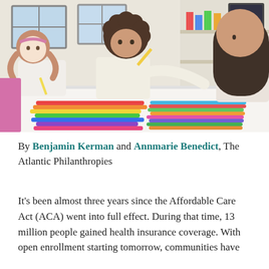[Figure (photo): Three young girls at a classroom table doing an art activity with colorful markers and pencils. One girl with a headband on the left, one girl with curly hair in the center reaching for supplies, and a third girl with long dark hair on the right. Bright colorful markers fill the foreground.]
By Benjamin Kerman and Annmarie Benedict, The Atlantic Philanthropies
It's been almost three years since the Affordable Care Act (ACA) went into full effect. During that time, 13 million people gained health insurance coverage. With open enrollment starting tomorrow, communities have